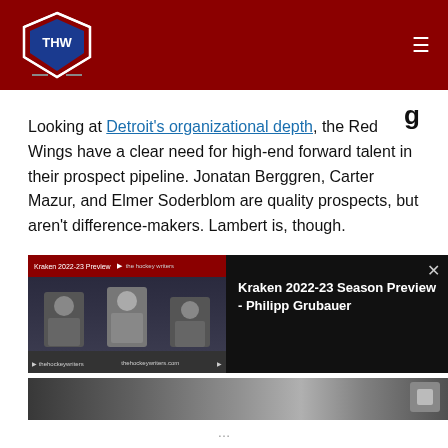THW - The Hockey Writers
Looking at Detroit's organizational depth, the Red Wings have a clear need for high-end forward talent in their prospect pipeline. Jonatan Berggren, Carter Mazur, and Elmer Soderblom are quality prospects, but aren't difference-makers. Lambert is, though.
In addition, he has played center in the past – a clear
[Figure (screenshot): Video overlay popup showing a podcast/video thumbnail with three people and a black panel displaying 'Kraken 2022-23 Season Preview - Philipp Grubauer' with a close (X) button]
[Figure (photo): Partial bottom image strip showing a blurred photo]